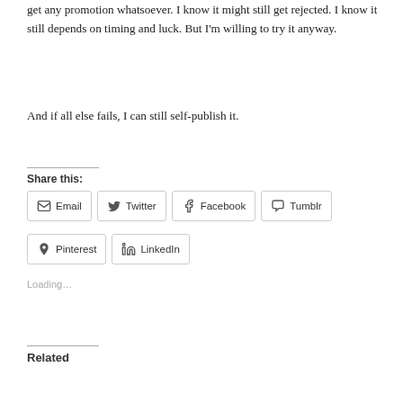get any promotion whatsoever. I know it might still get rejected. I know it still depends on timing and luck. But I'm willing to try it anyway.
And if all else fails, I can still self-publish it.
Share this:
Email
Twitter
Facebook
Tumblr
Pinterest
LinkedIn
Loading...
Related